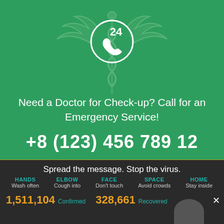[Figure (illustration): Medical caduceus symbol with a phone/24-hour service icon circle in white on green background]
Need a Doctor for Check-up? Call for an Emergency Service!
+8 (123) 456 789 12
Spread the message. Stop the virus.
HANDS - Wash often
ELBOW - Cough into
FACE - Don't touch
SPACE - Avoid crowds
HOME - Stay inside
1,511,104 Confirmed   328,661 Recovered